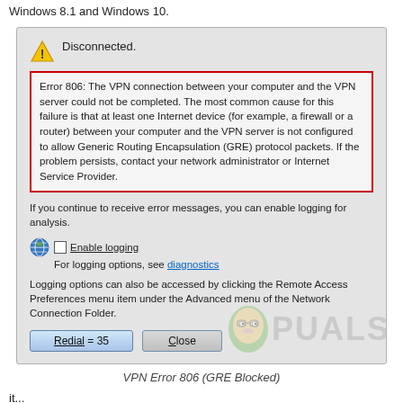Windows 8.1 and Windows 10.
[Figure (screenshot): Windows VPN Error 806 dialog box showing 'Disconnected.' message with a warning icon, a red-bordered error text box describing Error 806 (GRE protocol not allowed), logging options with globe icon and checkbox, diagnostics link, logging options info text, and Redial=35 and Close buttons. Appuals watermark overlaid.]
VPN Error 806 (GRE Blocked)
it...